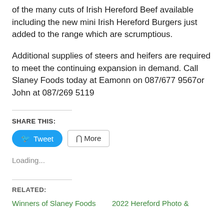of the many cuts of Irish Hereford Beef available including the new mini Irish Hereford Burgers just added to the range which are scrumptious.
Additional supplies of steers and heifers are required to meet the continuing expansion in demand. Call Slaney Foods today at Eamonn on 087/677 9567or John at 087/269 5119
SHARE THIS:
[Figure (screenshot): Tweet and More share buttons]
Loading...
RELATED:
Winners of Slaney Foods
2022 Hereford Photo &